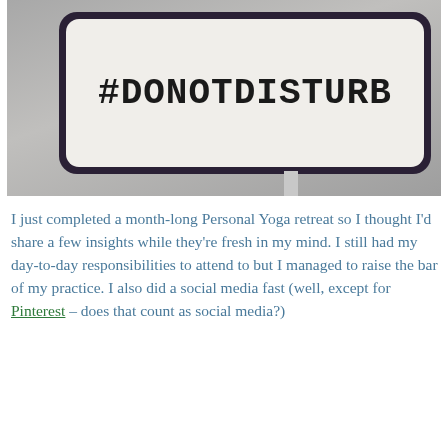[Figure (photo): A photograph of a white rectangular sign with dark border reading '#DONOTDISTURB' in large block letters, mounted on a pole against a concrete wall background.]
I just completed a month-long Personal Yoga retreat so I thought I'd share a few insights while they're fresh in my mind. I still had my day-to-day responsibilities to attend to but I managed to raise the bar of my practice. I also did a social media fast (well, except for Pinterest – does that count as social media?)